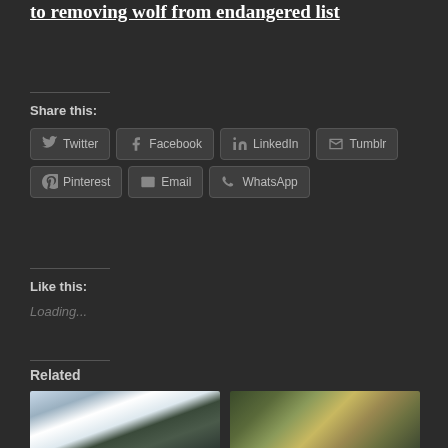to removing wolf from endangered list
Share this:
Twitter
Facebook
LinkedIn
Tumblr
Pinterest
Email
WhatsApp
Like this:
Loading...
Related
[Figure (photo): Wolves in a snowy landscape with evergreen trees]
[Figure (photo): Close-up of a wolf face in a forest setting]